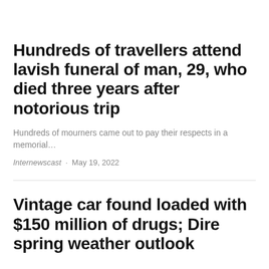Hundreds of travellers attend lavish funeral of man, 29, who died three years after notorious trip
Hundreds of mourners came out to pay their respects in a memorial…
Internewscast · May 19, 2022
Vintage car found loaded with $150 million of drugs; Dire spring weather outlook